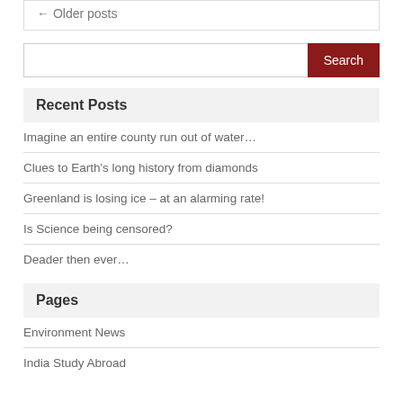← Older posts
Search
Recent Posts
Imagine an entire county run out of water…
Clues to Earth's long history from diamonds
Greenland is losing ice – at an alarming rate!
Is Science being censored?
Deader then ever…
Pages
Environment News
India Study Abroad